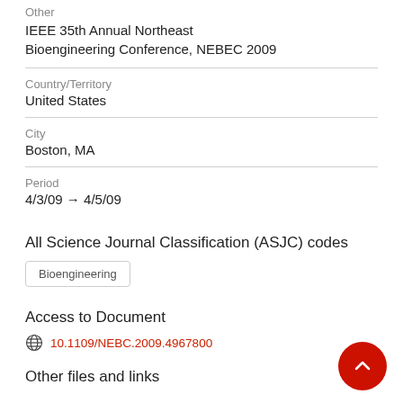Other
IEEE 35th Annual Northeast Bioengineering Conference, NEBEC 2009
Country/Territory
United States
City
Boston, MA
Period
4/3/09 → 4/5/09
All Science Journal Classification (ASJC) codes
Bioengineering
Access to Document
10.1109/NEBC.2009.4967800
Other files and links